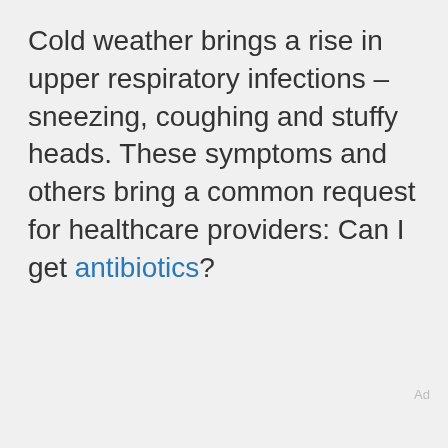Cold weather brings a rise in upper respiratory infections – sneezing, coughing and stuffy heads. These symptoms and others bring a common request for healthcare providers: Can I get antibiotics?
ADVERTISEMENT
Ad